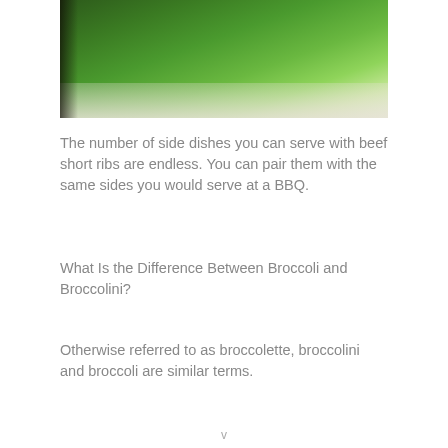[Figure (photo): Close-up photo of roasted broccolini on a white plate, showing dark green stalks and florets with some browning]
The number of side dishes you can serve with beef short ribs are endless. You can pair them with the same sides you would serve at a BBQ.
What Is the Difference Between Broccoli and Broccolini?
Otherwise referred to as broccolette, broccolini and broccoli are similar terms.
v